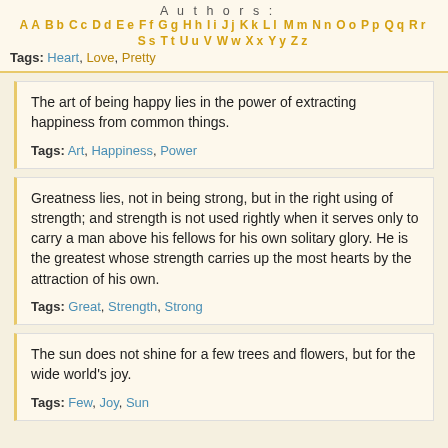Authors: AA BB CC DD EE FF GG HH II JJ KK LL MM NN OO PP QQ RR SS TT UU V WW XX YY ZZ
Tags: Heart, Love, Pretty
The art of being happy lies in the power of extracting happiness from common things.
Tags: Art, Happiness, Power
Greatness lies, not in being strong, but in the right using of strength; and strength is not used rightly when it serves only to carry a man above his fellows for his own solitary glory. He is the greatest whose strength carries up the most hearts by the attraction of his own.
Tags: Great, Strength, Strong
The sun does not shine for a few trees and flowers, but for the wide world's joy.
Tags: Few, Joy, Sun